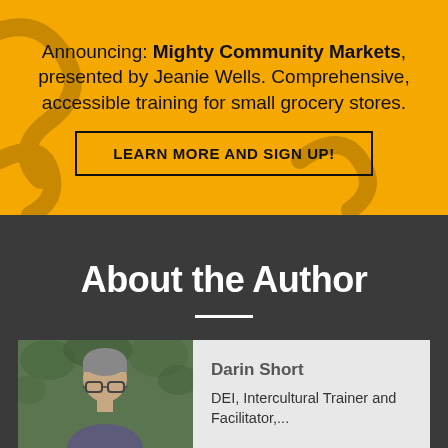Announcing: Mighty Community Markets, presented by Jeanie Wells. Comprehensive, accessible training for small grocery stores.
LEARN MORE and SIGN UP!
About the Author
[Figure (photo): Headshot of a man with grey hair and glasses against green foliage background]
Darin Short
DEI, Intercultural Trainer and Facilitator,...